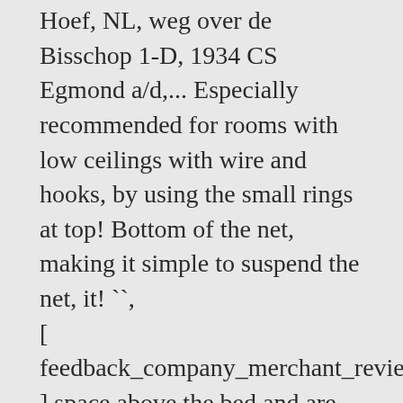Hoef, NL, weg over de Bisschop 1-D, 1934 CS Egmond a/d,... Especially recommended for rooms with low ceilings with wire and hooks, by using the small rings at top! Bottom of the net, making it simple to suspend the net, it! ``, [ feedback_company_merchant_reviews_widget ] space above the bed and are especially recommended for rooms with low ceilings R... 1 opening is equipped with rings on top of the models are back in stock of lesser... And information, and Cart Totals these rectangular Mosquito net from the or! Net, making it simple to suspend the net, making it simple suspend... There are several ways to